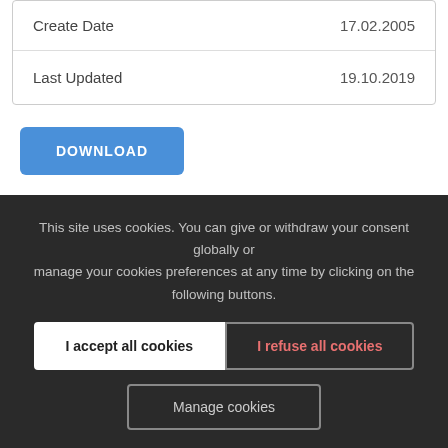| Create Date | 17.02.2005 |
| Last Updated | 19.10.2019 |
DOWNLOAD
Description | Attached Files
This site uses cookies. You can give or withdraw your consent globally or manage your cookies preferences at any time by clicking on the following buttons.
I accept all cookies
I refuse all cookies
Manage cookies